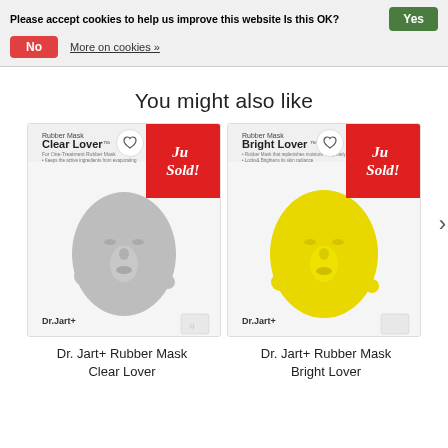Please accept cookies to help us improve this website Is this OK?
Yes
No
More on cookies »
You might also like
[Figure (photo): Dr. Jart+ Rubber Mask Clear Lover product package with a silver/grey 3D face mask against white background, red Just Sold badge in top right corner]
Dr. Jart+ Rubber Mask Clear Lover
[Figure (photo): Dr. Jart+ Rubber Mask Bright Lover product package with a yellow 3D face mask against white background, red Just Sold badge in top right corner]
Dr. Jart+ Rubber Mask Bright Lover